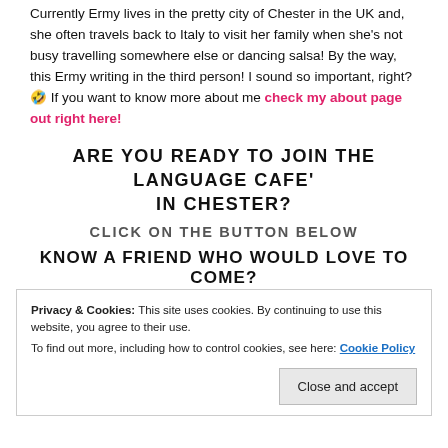Currently Ermy lives in the pretty city of Chester in the UK and, she often travels back to Italy to visit her family when she's not busy travelling somewhere else or dancing salsa! By the way, this Ermy writing in the third person! I sound so important, right? 🤣 If you want to know more about me check my about page out right here!
ARE YOU READY TO JOIN THE LANGUAGE CAFE' IN CHESTER?
CLICK ON THE BUTTON BELOW
KNOW A FRIEND WHO WOULD LOVE TO COME?
Privacy & Cookies: This site uses cookies. By continuing to use this website, you agree to their use. To find out more, including how to control cookies, see here: Cookie Policy
Close and accept